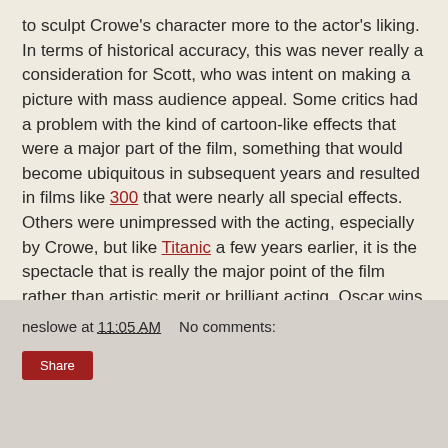to sculpt Crowe's character more to the actor's liking. In terms of historical accuracy, this was never really a consideration for Scott, who was intent on making a picture with mass audience appeal. Some critics had a problem with the kind of cartoon-like effects that were a major part of the film, something that would become ubiquitous in subsequent years and resulted in films like 300 that were nearly all special effects. Others were unimpressed with the acting, especially by Crowe, but like Titanic a few years earlier, it is the spectacle that is really the major point of the film rather than artistic merit or brilliant acting. Oscar wins for costume design and visual effects only reinforce that idea. Ultimately, Gladiator is one of those best picture Oscar winners that gives audiences something they can only experience through the magic of the movies, an impressive feat in its own right.
neslowe at 11:05 AM    No comments:
Share